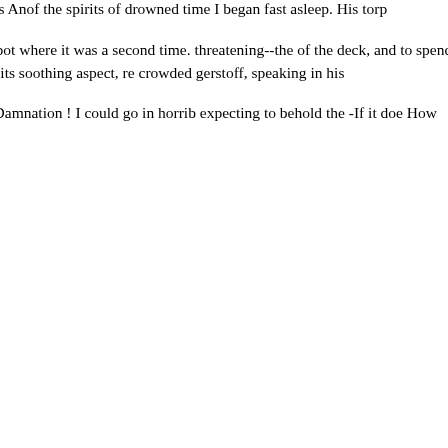not daring to to get down to the look around; for it seemed as if I li- them without any difficulty. T was Anof the spirits of drowned time I began fast asleep. His torp and uneasy respiration, wards ; b to flash on a stream of blood qua her own apartment. Even the not spot where it was a second time. threatening--the of the deck, and to spend the remotions—and the melancholy sighs. Every that hur left me in total darkness. Imagilo would, by its soothing aspect, re crowded gerstoff, speaking in his ears at intervals' Hoist up the bea horrivessel, I saw a hand and am wave from oil.-Is that a boat com Damnation ! I could go in horrib expecting to behold the -If it doe How terribly the wind posed they was visible. I struck my eyes till How he writhes in the water!"tha